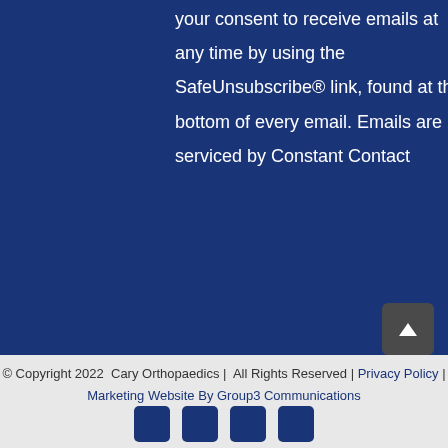your consent to receive emails at any time by using the SafeUnsubscribe® link, found at the bottom of every email. Emails are serviced by Constant Contact
© Copyright 2022  Cary Orthopaedics |  All Rights Reserved | Privacy Policy | Marketing Website By Group3 Communications